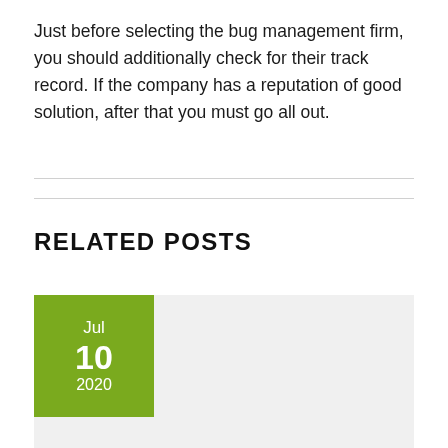Just before selecting the bug management firm, you should additionally check for their track record. If the company has a reputation of good solution, after that you must go all out.
RELATED POSTS
[Figure (other): A blog post card with a green date badge showing Jul 10 2020 and a light grey background placeholder]